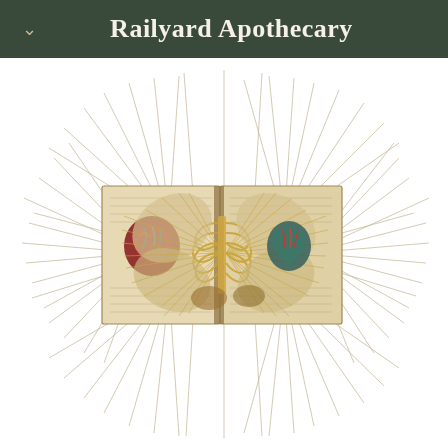Railyard Apothecary
[Figure (illustration): An open antique book with intricate paper-cut anatomical sculptures emerging from its pages, featuring carved ribs, organs including a heart with red and teal detailing, and radiating thin paper fronds or feathers extending outward in all directions creating a spiky, organic halo effect. The book pages have visible aged text. The sculpture resembles a butterfly or floral form with layered paper cut elements suggesting human anatomy.]